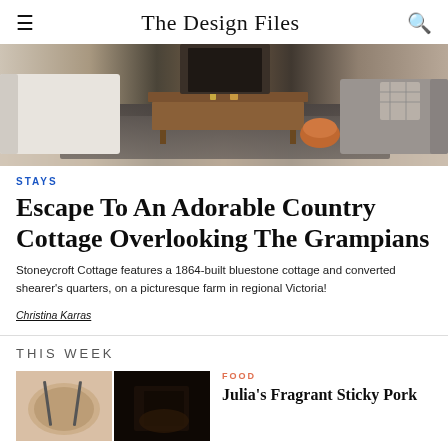The Design Files
[Figure (photo): Interior living room photo showing a wooden coffee table on a dark patterned rug between a white sofa and a grey sofa with plaid pillow]
STAYS
Escape To An Adorable Country Cottage Overlooking The Grampians
Stoneycroft Cottage features a 1864-built bluestone cottage and converted shearer's quarters, on a picturesque farm in regional Victoria!
Christina Karras
THIS WEEK
[Figure (photo): Two thumbnail images side by side: left shows a plate with food and fork, right shows a dark moody food photo]
FOOD
Julia's Fragrant Sticky Pork